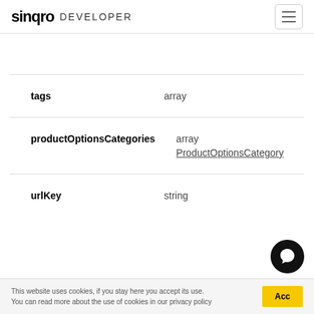sinqro DEVELOPER
| Field | Type |
| --- | --- |
| tags | array |
| productOptionsCategories | array
ProductOptionsCategory |
| urlKey | string |
This website uses cookies, if you stay here you accept its use. You can read more about the use of cookies in our privacy policy